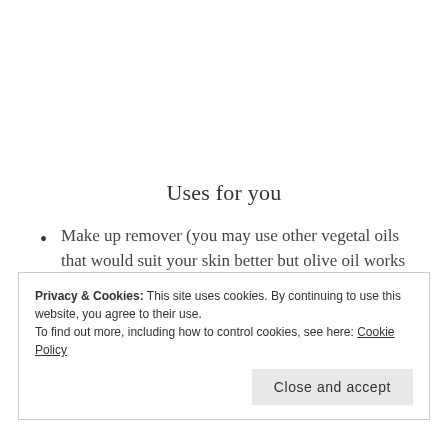Uses for you
Make up remover (you may use other vegetal oils that would suit your skin better but olive oil works just fine),
Soothes cracked nipples for those who breastfeed
Privacy & Cookies: This site uses cookies. By continuing to use this website, you agree to their use.
To find out more, including how to control cookies, see here: Cookie Policy
Close and accept
It is hard to find liniment in the United States so